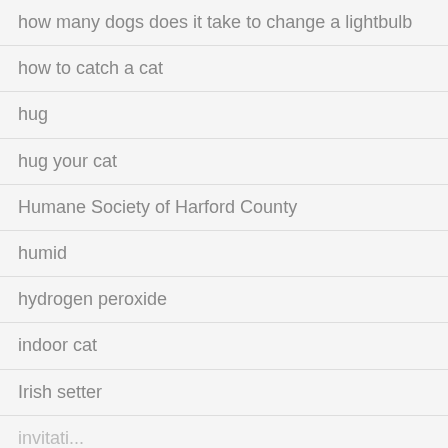how many dogs does it take to change a lightbulb
how to catch a cat
hug
hug your cat
Humane Society of Harford County
humid
hydrogen peroxide
indoor cat
Irish setter
invitation…